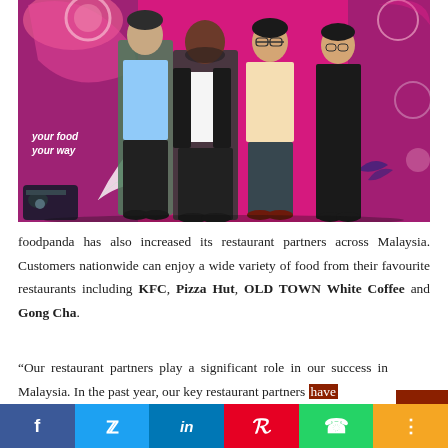[Figure (photo): Four people standing in front of a bright pink/magenta branded backdrop with decorative floral patterns and text reading 'your food your way'. From left to right: a tall man in a light blue shirt, a man in a dark blazer and white shirt, a man in a cream shirt and dark jeans, and a woman in a black outfit. Stage lighting equipment visible at bottom left.]
foodpanda has also increased its restaurant partners across Malaysia. Customers nationwide can enjoy a wide variety of food from their favourite restaurants including KFC, Pizza Hut, OLD TOWN White Coffee and Gong Cha.
“Our restaurant partners play a significant role in our success in Malaysia. In the past year, our key restaurant partners have grown by more than 200% on our platform and our goal for the